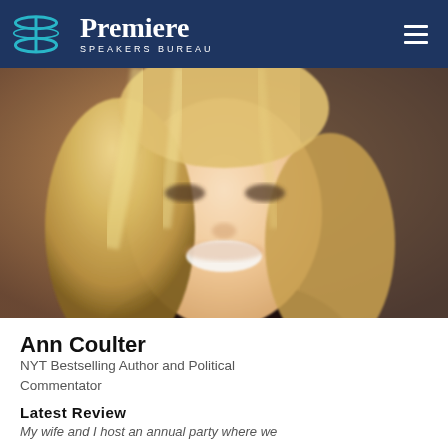Premiere Speakers Bureau
[Figure (photo): Close-up portrait photo of Ann Coulter, a blonde woman smiling, shown from roughly mid-chest up against a blurred background.]
Ann Coulter
NYT Bestselling Author and Political Commentator
Latest Review
My wife and I host an annual party where we